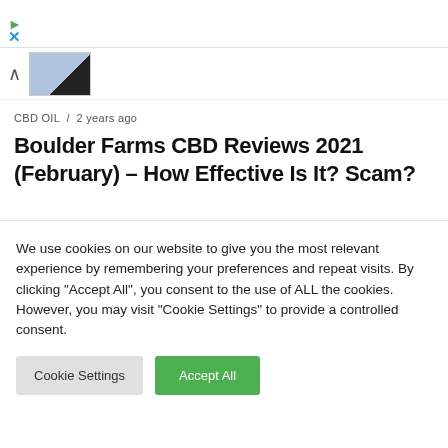[Figure (screenshot): Top browser navigation bar with green arrow and blue X close button]
[Figure (screenshot): Ad thumbnail row with up caret and small product image thumbnail with dark block]
CBD OIL / 2 years ago
Boulder Farms CBD Reviews 2021 (February) – How Effective Is It? Scam?
[Figure (photo): Dark/black image area representing a video or featured image placeholder]
We use cookies on our website to give you the most relevant experience by remembering your preferences and repeat visits. By clicking "Accept All", you consent to the use of ALL the cookies. However, you may visit "Cookie Settings" to provide a controlled consent.